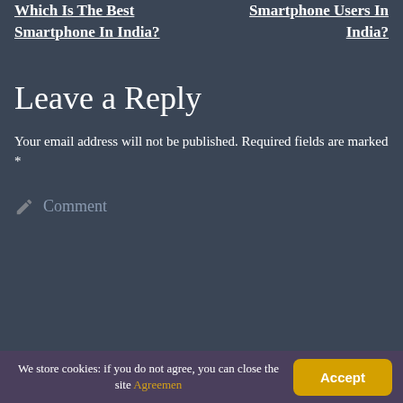Which Is The Best Smartphone In India?
Smartphone Users In India?
Leave a Reply
Your email address will not be published. Required fields are marked *
Comment
We store cookies: if you do not agree, you can close the site Agreemen